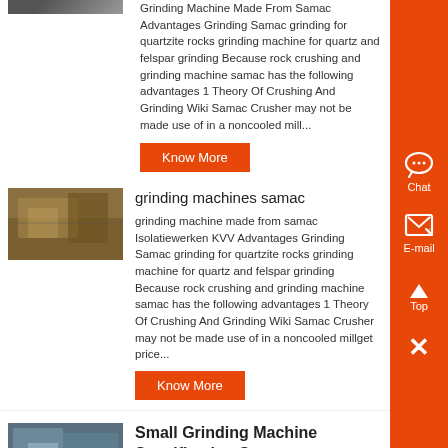Grinding Machine Made From Samac Advantages Grinding Samac grinding for quartzite rocks grinding machine for quartz and felspar grinding Because rock crushing and grinding machine samac has the following advantages 1 Theory Of Crushing And Grinding Wiki Samac Crusher may not be made use of in a noncooled mill...
Know More
[Figure (photo): Industrial grinding/mining machine outdoor photo]
grinding machines samac
grinding machine made from samac Isolatiewerken KVV Advantages Grinding Samac grinding for quartzite rocks grinding machine for quartz and felspar grinding Because rock crushing and grinding machine samac has the following advantages 1 Theory Of Crushing And Grinding Wiki Samac Crusher may not be made use of in a noncooled millget price...
Know More
[Figure (photo): Industrial grinding facility exterior photo]
Small Grinding Machine Specification Samac
Small Grinding Machine Specification Samac Jfsd3 manual small glass belt straight line grinding machine for glass